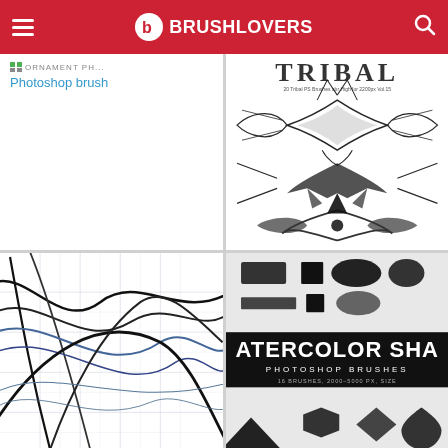BRUSHLOVERS
Photoshop brush
[Figure (illustration): Tribal PS brushes preview — black tribal tattoo-style patterns on white background with text '20 Tribal PS Brushes abr High for 2200px Vol.15']
[Figure (illustration): Abstract flowing curved lines and grid crosshatch pattern in dark blue/black on white background — Photoshop brush preview]
[Figure (illustration): Watercolor shapes Photoshop brushes preview — shows various black shapes (rectangles, circles, triangles, hexagons, diamonds) with text 'ATERCOLOR SHA PHOTOSHOP BRUSHES 16 BRUSHES, 2000-5000 PX, SIZE']